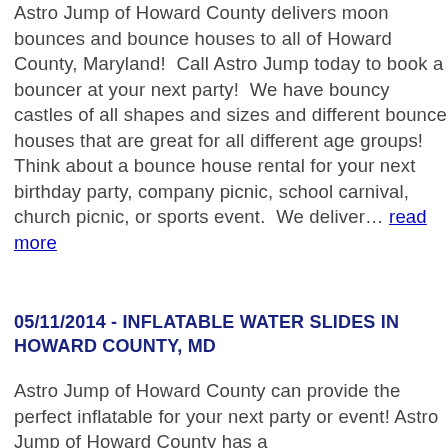Astro Jump of Howard County delivers moon bounces and bounce houses to all of Howard County, Maryland!  Call Astro Jump today to book a bouncer at your next party!  We have bouncy castles of all shapes and sizes and different bounce houses that are great for all different age groups!  Think about a bounce house rental for your next birthday party, company picnic, school carnival, church picnic, or sports event.  We deliver… read more
05/11/2014 - INFLATABLE WATER SLIDES IN HOWARD COUNTY, MD
Astro Jump of Howard County can provide the perfect inflatable for your next party or event! Astro Jump of Howard County has a